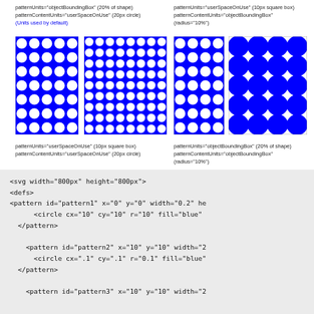patternUnits="objectBoundingBox" (20% of shape)
patternContentUnits="userSpaceOnUse" (20px circle)
(Units used by default)
patternUnits="userSpaceOnUse" (10px square box)
patternContentUnits="objectBoundingBox"(radius="10%")
[Figure (illustration): Four blue circle pattern diagrams: small grid, large grid, medium grid, large overlapping circles]
patternUnits="userSpaceOnUse" (10px square box)
patternContentUnits="userSpaceOnUse" (20px circle)
patternUnits="objectBoundingBox" (20% of shape)
patternContentUnits="objectBoundingBox"(radius="10%")
<svg width="800px" height="800px">
<defs>
<pattern id="pattern1" x="0" y="0" width="0.2" he
      <circle cx="10" cy="10" r="10" fill="blue"
  </pattern>

    <pattern id="pattern2" x="10" y="10" width="2
      <circle cx=".1" cy=".1" r="0.1" fill="blue"
  </pattern>

    <pattern id="pattern3" x="10" y="10" width="2